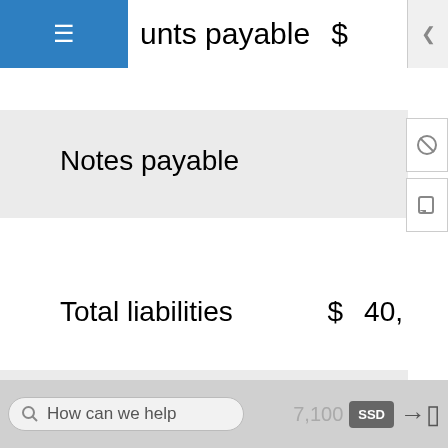unts payable
Notes payable
Total liabilities   $   40,
Stockholders' equity:
Capital stock   $  10,000
How can we help